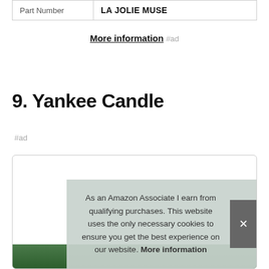| Part Number | LA JOLIE MUSE |
| --- | --- |
More information #ad
9. Yankee Candle
#ad
[Figure (photo): Product image card for Yankee Candle, partially visible with green product image at the bottom]
As an Amazon Associate I earn from qualifying purchases. This website uses the only necessary cookies to ensure you get the best experience on our website. More information